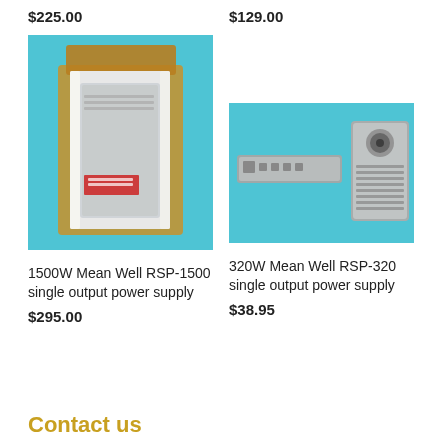$225.00
$129.00
[Figure (photo): 1500W Mean Well RSP-1500 power supply unit in an open cardboard box, with white foam padding, on a teal/blue background]
[Figure (photo): 320W Mean Well RSP-320 single output power supply units on a teal/blue background, two units shown side by side]
1500W Mean Well RSP-1500 single output power supply
320W Mean Well RSP-320 single output power supply
$295.00
$38.95
Contact us